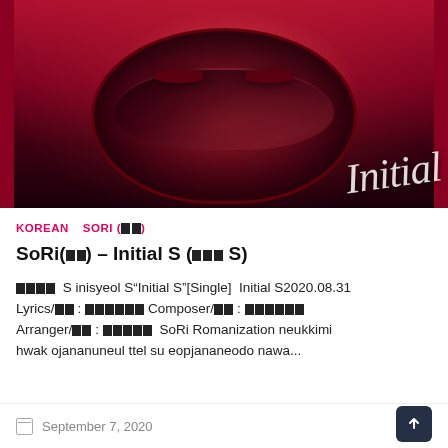[Figure (photo): Person wearing a dark motorcycle helmet against a red/pink background. The word 'Initial' is written in cursive script on the right side of the image.]
KOREAN   SORI (소리)
SoRi(소리) – Initial S (이니셜 S)
이니셜 S inisyeol S"Initial S"[Single]  Initial S2020.08.31 Lyrics/작사: 소리Composer/작곡: 소리 Arranger/편곡: 소리 SoRi Romanization neukkimi hwak ojananuneul ttel su eopjananeodo nawa...
September 7, 2020